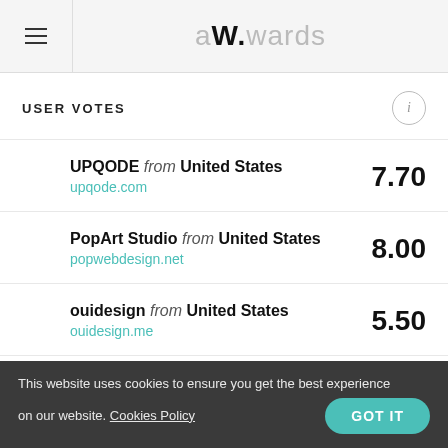awwwards
USER VOTES
UPQODE from United States
upqode.com
7.70
PopArt Studio from United States
popwebdesign.net
8.00
ouidesign from United States
ouidesign.me
5.50
Etienne Pharabot from France
7.00
This website uses cookies to ensure you get the best experience on our website. Cookies Policy  GOT IT